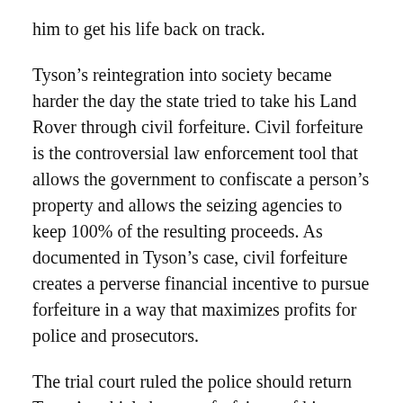him to get his life back on track.
Tyson's reintegration into society became harder the day the state tried to take his Land Rover through civil forfeiture. Civil forfeiture is the controversial law enforcement tool that allows the government to confiscate a person's property and allows the seizing agencies to keep 100% of the resulting proceeds. As documented in Tyson's case, civil forfeiture creates a perverse financial incentive to pursue forfeiture in a way that maximizes profits for police and prosecutors.
The trial court ruled the police should return Tyson's vehicle because forfeiture of his $40,000 car would be “grossly disproportional” to his offense, and therefore unconstitutional under the Excessive Fines Clause. The Indiana Court of Appeals agreed with that conclusion, noting that Tyson had sold only four grams of heroin, all